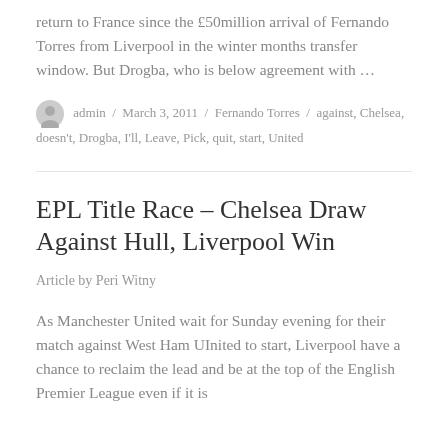return to France since the £50million arrival of Fernando Torres from Liverpool in the winter months transfer window. But Drogba, who is below agreement with …
admin / March 3, 2011 / Fernando Torres / against, Chelsea, doesn't, Drogba, I'll, Leave, Pick, quit, start, United
EPL Title Race – Chelsea Draw Against Hull, Liverpool Win
Article by Peri Witny
As Manchester United wait for Sunday evening for their match against West Ham UInited to start, Liverpool have a chance to reclaim the lead and be at the top of the English Premier League even if it is